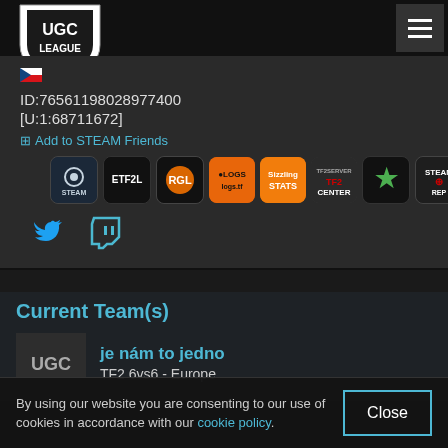[Figure (logo): UGC League shield logo in black and white]
[Figure (screenshot): Hamburger menu icon (three horizontal lines) in dark grey box]
ID:76561198028977400
[U:1:68711672]
⊞ Add to STEAM Friends
[Figure (other): Row of external link icons: STEAM, ETF2L, RGL, logs.tf, Sizzling Stats, TF2 Center, MGA, Steam Rep]
[Figure (other): Twitter and Twitch social media icons]
Current Team(s)
[Figure (logo): UGC League logo in grey box]
je nám to jedno
TF2 6vs6 - Europe
By using our website you are consenting to our use of cookies in accordance with our cookie policy.
Close